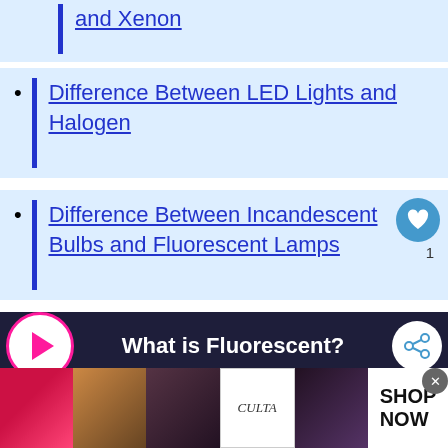and Xenon
Difference Between LED Lights and Halogen
Difference Between Incandescent Bulbs and Fluorescent Lamps
[Figure (screenshot): Video player bar with play button and title 'What is Fluorescent?' on dark background with share icon]
Fluorescent is a type of lights that
[Figure (photo): Advertisement banner with makeup/cosmetics photos and Ulta Beauty logo, SHOP NOW call to action]